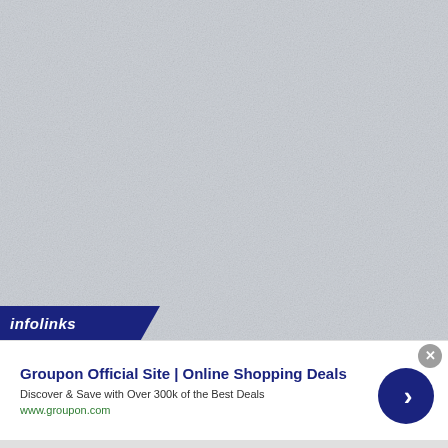[Figure (screenshot): Large gray noisy/textured background area occupying the upper portion of the page]
[Figure (logo): Infolinks logo in dark navy blue angled banner with italic white text 'infolinks']
Groupon Official Site | Online Shopping Deals
Discover & Save with Over 300k of the Best Deals
www.groupon.com